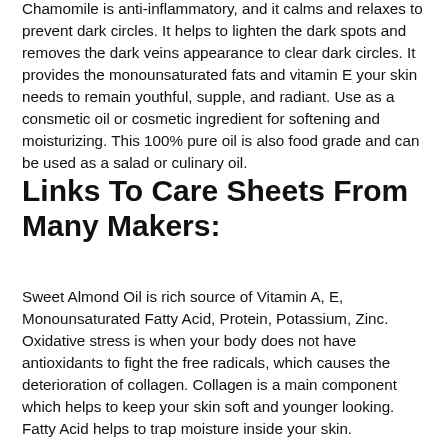Chamomile is anti-inflammatory, and it calms and relaxes to prevent dark circles. It helps to lighten the dark spots and removes the dark veins appearance to clear dark circles. It provides the monounsaturated fats and vitamin E your skin needs to remain youthful, supple, and radiant. Use as a consmetic oil or cosmetic ingredient for softening and moisturizing. This 100% pure oil is also food grade and can be used as a salad or culinary oil.
Links To Care Sheets From Many Makers:
Sweet Almond Oil is rich source of Vitamin A, E, Monounsaturated Fatty Acid, Protein, Potassium, Zinc. Oxidative stress is when your body does not have antioxidants to fight the free radicals, which causes the deterioration of collagen. Collagen is a main component which helps to keep your skin soft and younger looking. Fatty Acid helps to trap moisture inside your skin.